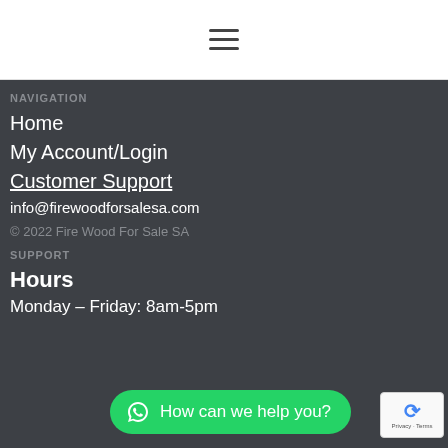≡ (hamburger menu icon)
NAVIGATION
Home
My Account/Login
Customer Support
info@firewoodforsalesa.com
© 2022 Fire Wood For Sale SA
SUPPORT
Hours
Monday – Friday: 8am-5pm
How can we help you?